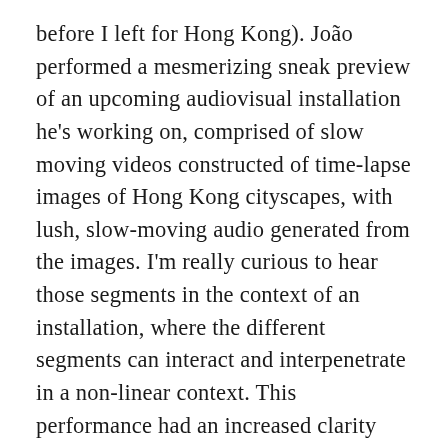before I left for Hong Kong). João performed a mesmerizing sneak preview of an upcoming audiovisual installation he's working on, comprised of slow moving videos constructed of time-lapse images of Hong Kong cityscapes, with lush, slow-moving audio generated from the images. I'm really curious to hear those segments in the context of an installation, where the different segments can interact and interpenetrate in a non-linear context. This performance had an increased clarity and focus over what I remember from his 2007 performance; it's really thrilling to be able to observe an artist's evolution. On the same bill were Sin:Ned and Pun Tak Shu 囍囍囍, who also delivered riveting sets. The architect this time